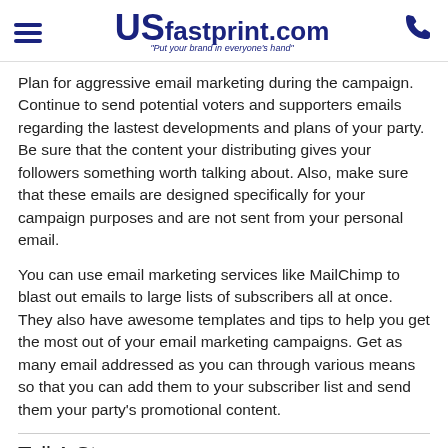USfastprint.com - Put your brand in everyone's hand!
Plan for aggressive email marketing during the campaign. Continue to send potential voters and supporters emails regarding the lastest developments and plans of your party. Be sure that the content your distributing gives your followers something worth talking about. Also, make sure that these emails are designed specifically for your campaign purposes and are not sent from your personal email.
You can use email marketing services like MailChimp to blast out emails to large lists of subscribers all at once. They also have awesome templates and tips to help you get the most out of your email marketing campaigns. Get as many email addressed as you can through various means so that you can add them to your subscriber list and send them your party's promotional content.
Tell A Story
Audience engagement is key to gaining supports and success. People engage with stories and personal interactions. Tell your followers who you are without